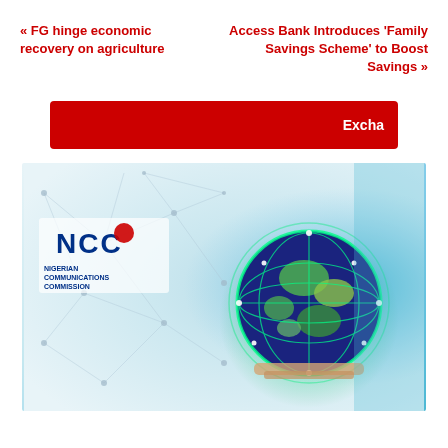« FG hinge economic recovery on agriculture
Access Bank Introduces ‘Family Savings Scheme’ to Boost Savings »
[Figure (other): Red navigation/search bar with text 'Excha' visible on right side]
[Figure (photo): NCC (Nigerian Communications Commission) logo on left with network connectivity lines pattern, and a glowing green globe being held by a hand on the right, representing digital communications]